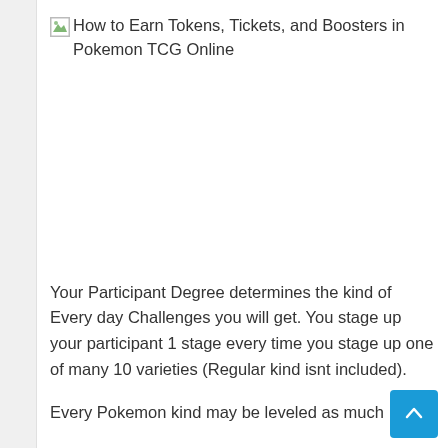[Figure (other): Broken image placeholder with alt text: How to Earn Tokens, Tickets, and Boosters in Pokemon TCG Online]
Your Participant Degree determines the kind of Every day Challenges you will get. You stage up your participant 1 stage every time you stage up one of many 10 varieties (Regular kind isnt included).
Every Pokemon kind may be leveled as much